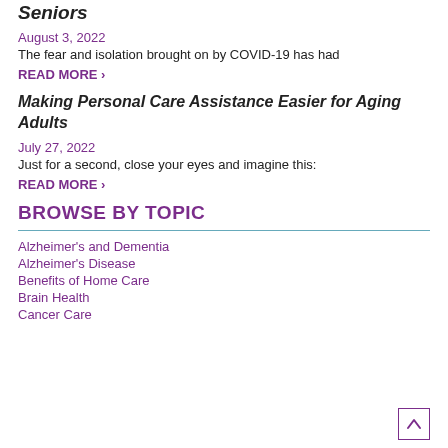Seniors
August 3, 2022
The fear and isolation brought on by COVID-19 has had
READ MORE ›
Making Personal Care Assistance Easier for Aging Adults
July 27, 2022
Just for a second, close your eyes and imagine this:
READ MORE ›
BROWSE BY TOPIC
Alzheimer's and Dementia
Alzheimer's Disease
Benefits of Home Care
Brain Health
Cancer Care